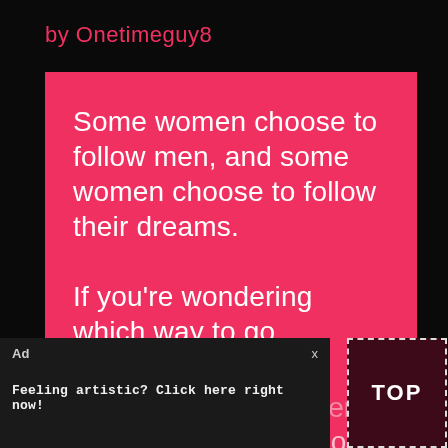by Onetimeguy8
Some women choose to follow men, and some women choose to follow their dreams.

If you're wondering which way to go, remember that your dreams will never wake up and tell you that you don't love them anymore.
[Figure (screenshot): Ad overlay with text 'Feeling artistic? Click here right now!' and a 'TOP' button box in the bottom right corner]
Ad
x
Feeling artistic? Click here right now!
TOP